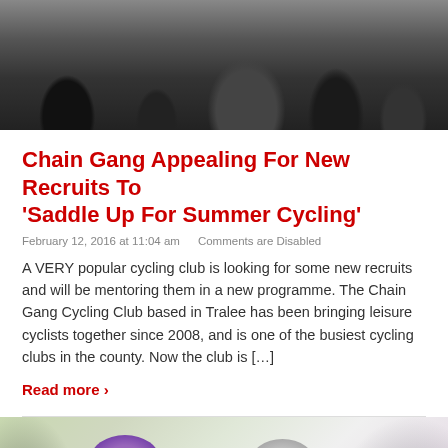[Figure (photo): Dark photo showing bicycles and people's lower bodies/legs at an outdoor gathering]
Chain Gang Appealing For New Recruits To 'Saddle Up For Summer Cycling'
February 12, 2016 at 11:04 am    Comments are Disabled
A VERY popular cycling club is looking for some new recruits and will be mentoring them in a new programme. The Chain Gang Cycling Club based in Tralee has been bringing leisure cyclists together since 2008, and is one of the busiest cycling clubs in the county. Now the club is […]
Read more ›
[Figure (photo): Photo of four children wearing bicycle helmets and smiling, in colorful jackets]